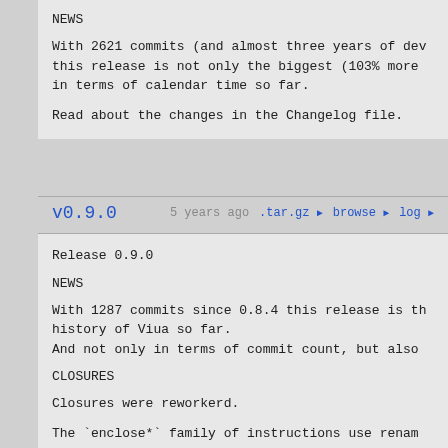NEWS
With 2621 commits (and almost three years of dev this release is not only the biggest (103% more in terms of calendar time so far.
Read about the changes in the Changelog file.
v0.9.0
5 years ago  .tar.gz ▶  browse ▶  log ▶
Release 0.9.0
NEWS
With 1287 commits since 0.8.4 this release is th history of Viua so far.
And not only in terms of commit count, but also
CLOSURES
Closures were reworkerd.
The `enclose*` family of instructions use renam